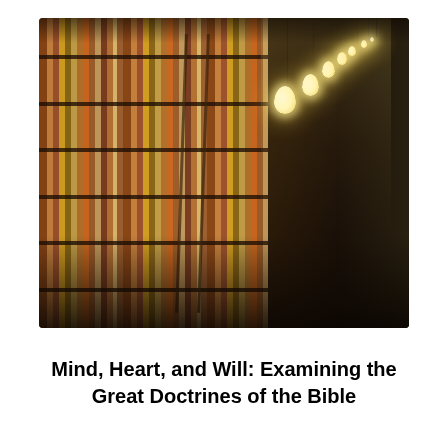[Figure (photo): A long library corridor with floor-to-ceiling wooden bookshelves packed with books on the left, and hanging Edison-style pendant light bulbs descending from the ceiling on the right, receding into the distance. The image has a warm, sepia-toned ambiance.]
Mind, Heart, and Will: Examining the Great Doctrines of the Bible